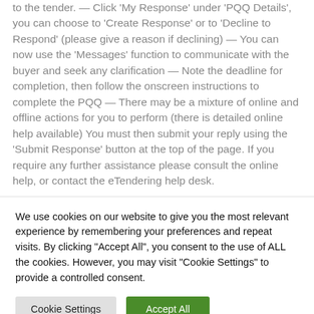to the tender. — Click 'My Response' under 'PQQ Details', you can choose to 'Create Response' or to 'Decline to Respond' (please give a reason if declining) — You can now use the 'Messages' function to communicate with the buyer and seek any clarification — Note the deadline for completion, then follow the onscreen instructions to complete the PQQ — There may be a mixture of online and offline actions for you to perform (there is detailed online help available) You must then submit your reply using the 'Submit Response' button at the top of the page. If you require any further assistance please consult the online help, or contact the eTendering help desk.
We use cookies on our website to give you the most relevant experience by remembering your preferences and repeat visits. By clicking "Accept All", you consent to the use of ALL the cookies. However, you may visit "Cookie Settings" to provide a controlled consent.